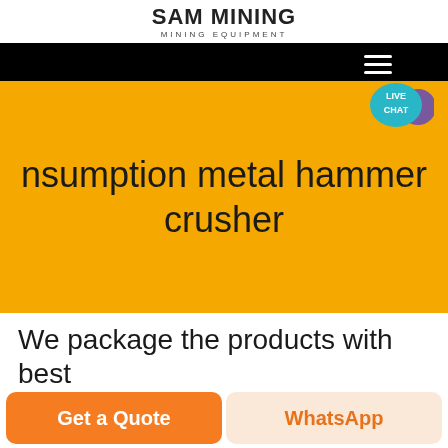SAM Mining MINING EQUIPMENT
[Figure (screenshot): Website hero banner with black top bar, yellow background section, and 'LIVE CHAT' speech bubble overlay in teal color with purple chat icon. Hamburger menu icon visible top-right on black bar.]
nsumption metal hammer crusher
We package the products with best
Get a Quote
WhatsApp